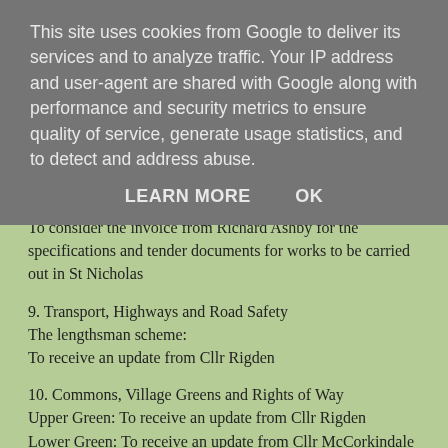This site uses cookies from Google to deliver its services and to analyze traffic. Your IP address and user-agent are shared with Google along with performance and security metrics to ensure quality of service, generate usage statistics, and to detect and address abuse.
LEARN MORE   OK
To consider the invoice from Richard Ashby for the specifications and tender documents for works to be carried out in St Nicholas
9. Transport, Highways and Road Safety
The lengthsman scheme:
To receive an update from Cllr Rigden
10. Commons, Village Greens and Rights of Way
Upper Green: To receive an update from Cllr Rigden
Lower Green: To receive an update from Cllr McCorkindale
To consider the quotation of £195 for cutting the area of Lower Green covered by golden rod
To consider the quotation of £245 for cutting the area between the